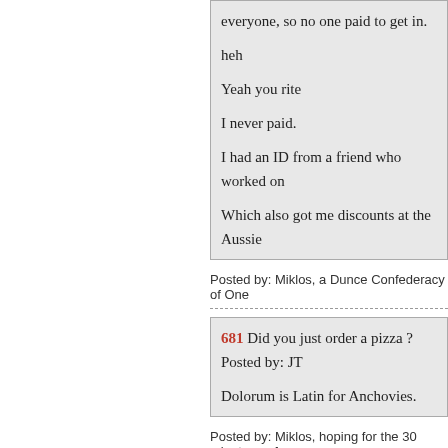everyone, so no one paid to get in.

heh

Yeah you rite

I never paid.

I had an ID from a friend who worked on

Which also got me discounts at the Aussie
Posted by: Miklos, a Dunce Confederacy of One
681 Did you just order a pizza ?
Posted by: JT

Dolorum is Latin for Anchovies.
Posted by: Miklos, hoping for the 30 minutes or f
682

MarkY,

Do I remember you being in my neck of th
Kinda KCish?